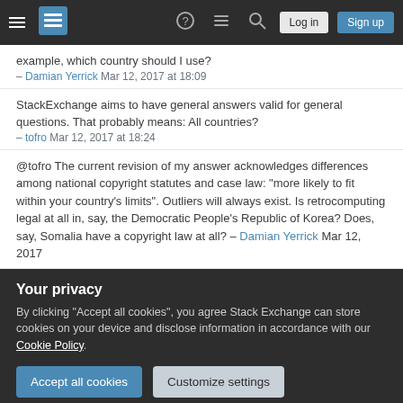Stack Exchange navigation bar with hamburger menu, logo, help, chat, search icons, Log in and Sign up buttons
example, which country should I use? – Damian Yerrick Mar 12, 2017 at 18:09
StackExchange aims to have general answers valid for general questions. That probably means: All countries? – tofro Mar 12, 2017 at 18:24
@tofro The current revision of my answer acknowledges differences among national copyright statutes and case law: "more likely to fit within your country's limits". Outliers will always exist. Is retrocomputing legal at all in, say, the Democratic People's Republic of Korea? Does, say, Somalia have a copyright law at all? – Damian Yerrick Mar 12, 2017 at 18:...
Your privacy
By clicking "Accept all cookies", you agree Stack Exchange can store cookies on your device and disclose information in accordance with our Cookie Policy.
Accept all cookies
Customize settings